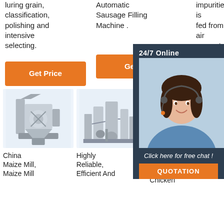luring grain, classification, polishing and intensive selecting.
Automatic Sausage Filling Machine .
impurities is fed from air separator.
Get Price
Get Price
[Figure (photo): Customer service representative with headset, 24/7 Online chat panel with QUOTATION button]
[Figure (photo): China Maize Mill machine equipment on light blue background]
[Figure (photo): Highly Reliable, Efficient And industrial processing equipment on light blue background]
[Figure (photo): Corn Grinder For Chicken product with TOP badge]
China Maize Mill, Maize Mill
Highly Reliable, Efficient And
Corn TOP Grinder For Chicken